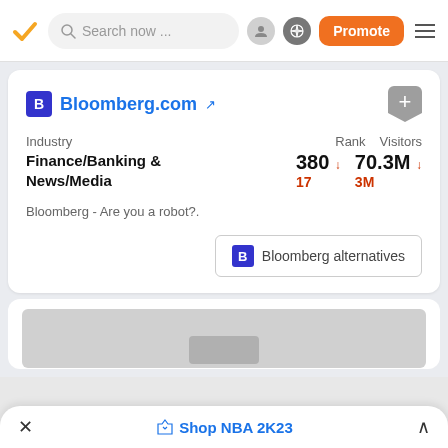[Figure (screenshot): Navigation bar with checkmark logo, search box saying 'Search now...', user icon, globe icon, orange 'Promote' button, and hamburger menu]
Bloomberg.com
| Industry | Rank | Visitors |
| --- | --- | --- |
| Finance/Banking & News/Media | 380 ↓ 17 | 70.3M ↓ 3M |
Bloomberg - Are you a robot?.
Bloomberg alternatives
[Figure (screenshot): Partially visible second card with gray placeholder content]
Shop NBA 2K23